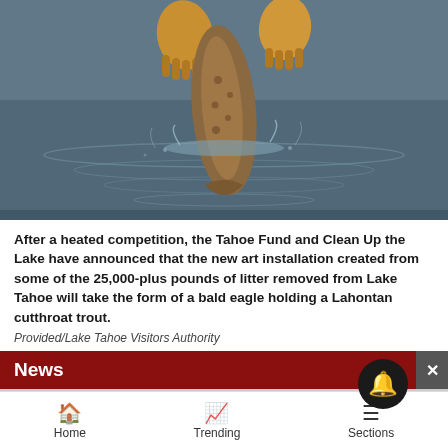[Figure (photo): An eagle holding a Lahontan cutthroat trout over water, with splashing water droplets visible]
After a heated competition, the Tahoe Fund and Clean Up the Lake have announced that the new art installation created from some of the 25,000-plus pounds of litter removed from Lake Tahoe will take the form of a bald eagle holding a Lahontan cutthroat trout.
Provided/Lake Tahoe Visitors Authority
[Figure (screenshot): News bar with dark red background showing 'News' text, a close button, bell notification icon, Bloomingdale's advertisement showing logo, 'View Today's Top Deals!' text, woman with hat, and SHOP NOW button]
Home    Trending    Sections